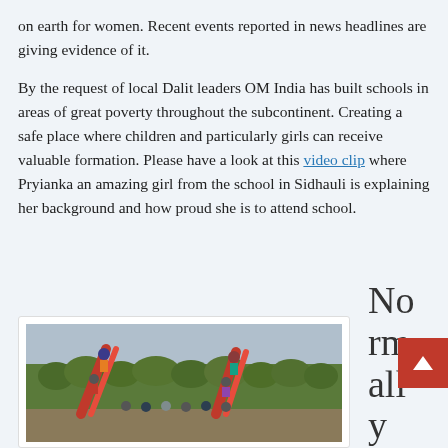on earth for women. Recent events reported in news headlines are giving evidence of it.
By the request of local Dalit leaders OM India has built schools in areas of great poverty throughout the subcontinent. Creating a safe place where children and particularly girls can receive valuable formation. Please have a look at this video clip where Pryianka an amazing girl from the school in Sidhauli is explaining her background and how proud she is to attend school.
[Figure (photo): Children playing on slides outdoors with trees in the background]
Normally chi